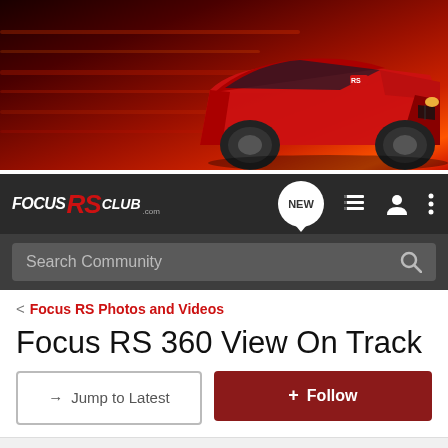[Figure (photo): Hero banner showing a red Ford Focus RS car speeding on track with motion blur background in red and dark tones]
[Figure (logo): Focus RS Club .com logo in white and red italic text on dark navbar with navigation icons including NEW chat button, list icon, user icon, and menu dots]
Search Community
< Focus RS Photos and Videos
Focus RS 360 View On Track
→ Jump to Latest
+ Follow
1 - 5 of 5 Posts
I'mBlue · New member
Joined Jul 9, 2015 · 59 Posts